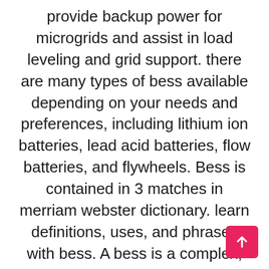provide backup power for microgrids and assist in load leveling and grid support. there are many types of bess available depending on your needs and preferences, including lithium ion batteries, lead acid batteries, flow batteries, and flywheels. Bess is contained in 3 matches in merriam webster dictionary. learn definitions, uses, and phrases with bess. A bess is a complex, multilayer engineering system, so developing a battery based storage solution from the ground up requires deep knowledge in various fields, including battery technologies, power electronics, and embedded software